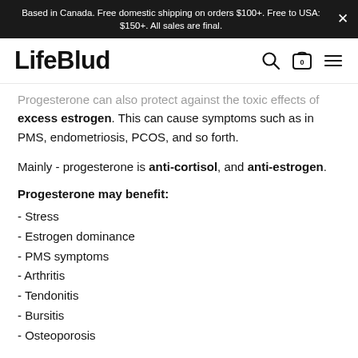Based in Canada. Free domestic shipping on orders $100+. Free to USA: $150+. All sales are final.
[Figure (logo): LifeBlud logo with search, cart (0), and hamburger menu icons]
Progesterone can also protect against the toxic effects of excess estrogen. This can cause symptoms such as in PMS, endometriosis, PCOS, and so forth.
Mainly - progesterone is anti-cortisol, and anti-estrogen.
Progesterone may benefit:
- Stress
- Estrogen dominance
- PMS symptoms
- Arthritis
- Tendonitis
- Bursitis
- Osteoporosis